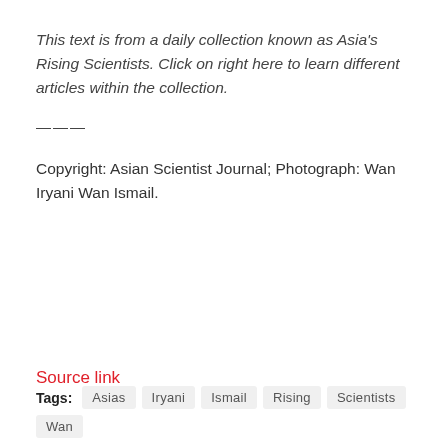This text is from a daily collection known as Asia's Rising Scientists. Click on right here to learn different articles within the collection.
———
Copyright: Asian Scientist Journal; Photograph: Wan Iryani Wan Ismail.
Source link
Tags: Asias  Iryani  Ismail  Rising  Scientists  Wan